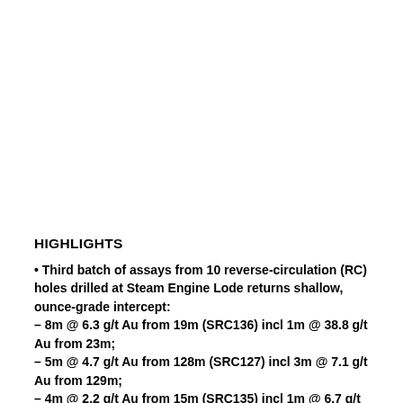HIGHLIGHTS
Third batch of assays from 10 reverse-circulation (RC) holes drilled at Steam Engine Lode returns shallow, ounce-grade intercept:
– 8m @ 6.3 g/t Au from 19m (SRC136) incl 1m @ 38.8 g/t Au from 23m;
– 5m @ 4.7 g/t Au from 128m (SRC127) incl 3m @ 7.1 g/t Au from 129m;
– 4m @ 2.2 g/t Au from 15m (SRC135) incl 1m @ 6.7 g/t